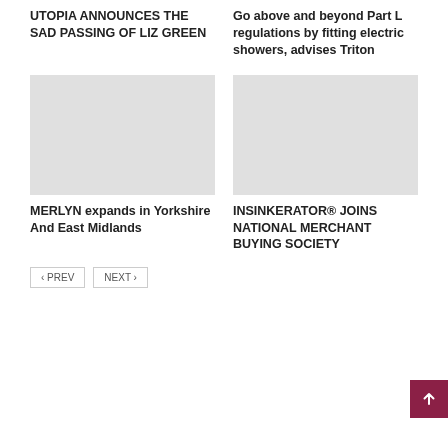UTOPIA ANNOUNCES THE SAD PASSING OF LIZ GREEN
Go above and beyond Part L regulations by fitting electric showers, advises Triton
[Figure (photo): Gray placeholder image for MERLYN article]
[Figure (photo): Gray placeholder image for INSINKERATOR article]
MERLYN expands in Yorkshire And East Midlands
INSINKERATOR® JOINS NATIONAL MERCHANT BUYING SOCIETY
‹ PREV
NEXT ›